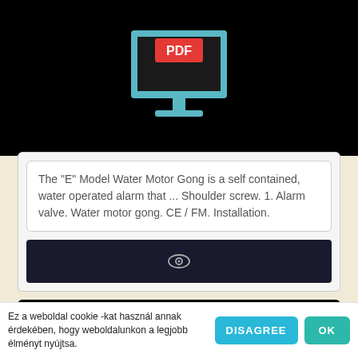[Figure (screenshot): Black background area showing top portion of a PDF viewer/monitor illustration with PDF icon on screen]
The "E" Model Water Motor Gong is a self contained, water operated alarm that ... Shoulder screw. 1. Alarm valve. Water motor gong. CE / FM. Installation.
[Figure (screenshot): Dark navy preview bar with an eye icon in the center]
[Figure (screenshot): Black card with title SZAKMAI ÖNÉLETRAJZ - ÉRIC BLIN - SZEGE... and a PDF download icon]
Ez a weboldal cookie -kat használ annak érdekében, hogy weboldalunkon a legjobb élményt nyújtsa.
DISAGREE
OK